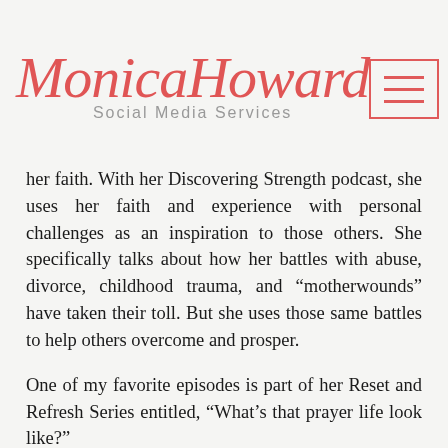MonicaHoward Social Media Services
her faith. With her Discovering Strength podcast, she uses her faith and experience with personal challenges as an inspiration to those others. She specifically talks about how her battles with abuse, divorce, childhood trauma, and “motherwounds” have taken their toll. But she uses those same battles to help others overcome and prosper.
One of my favorite episodes is part of her Reset and Refresh Series entitled, “What’s that prayer life look like?”
Why this podcast? When I need a pick-me-up, a word of encouragement, or a word from the Most High as encouragement, I can depend on Erin to shine a light in